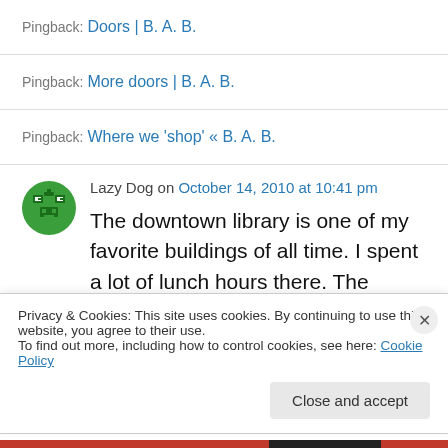Pingback: Doors | B. A. B.
Pingback: More doors | B. A. B.
Pingback: Where we 'shop' « B. A. B.
Lazy Dog on October 14, 2010 at 10:41 pm
The downtown library is one of my favorite buildings of all time. I spent a lot of lunch hours there. The doors are awesome.
Privacy & Cookies: This site uses cookies. By continuing to use this website, you agree to their use.
To find out more, including how to control cookies, see here: Cookie Policy
Close and accept